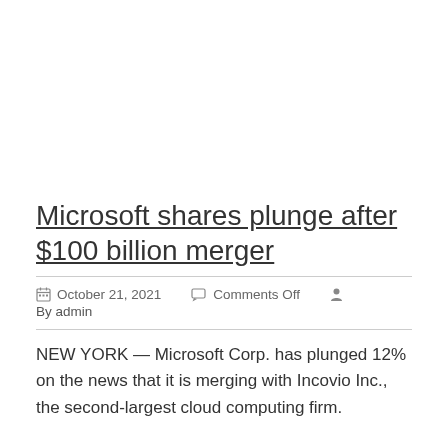Microsoft shares plunge after $100 billion merger
October 21, 2021   Comments Off   By admin
NEW YORK — Microsoft Corp. has plunged 12% on the news that it is merging with Incovio Inc., the second-largest cloud computing firm.